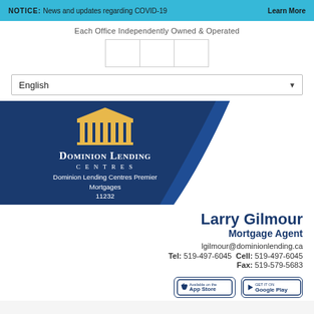NOTICE: News and updates regarding COVID-19  Learn More
Each Office Independently Owned & Operated
[Figure (logo): Dominion Lending Centres logo placeholder with three boxes]
English (dropdown selector)
[Figure (logo): Dominion Lending Centres Premier Mortgages logo with building columns icon. Text: Dominion Lending Centres Premier Mortgages 11232]
Larry Gilmour
Mortgage Agent
lgilmour@dominionlending.ca
Tel: 519-497-6045 Cell: 519-497-6045
Fax: 519-579-5683
[Figure (logo): App Store and Google Play buttons]